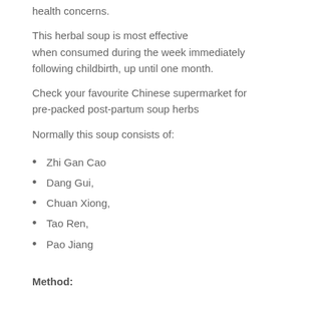health concerns.
This herbal soup is most effective when consumed during the week immediately following childbirth, up until one month.
Check your favourite Chinese supermarket for pre-packed post-partum soup herbs
Normally this soup consists of:
Zhi Gan Cao
Dang Gui,
Chuan Xiong,
Tao Ren,
Pao Jiang
Method: